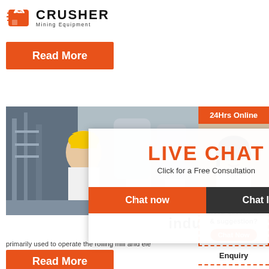[Figure (logo): Crusher Mining Equipment logo with red shopping bag icon and bold CRUSHER text]
Read More
[Figure (photo): Workers in yellow hard hats at industrial facility]
(PDF)
[Figure (infographic): Live Chat overlay popup with 'LIVE CHAT - Click for a Free Consultation' heading, Chat now and Chat later buttons]
[Figure (photo): Customer service representative with headset, 24Hrs Online sidebar]
indus
primarily used to operate the rolling mill and ele
Read More
Need questions & suggestion?
Chat Now
Enquiry
limingjlmofen@sina.com